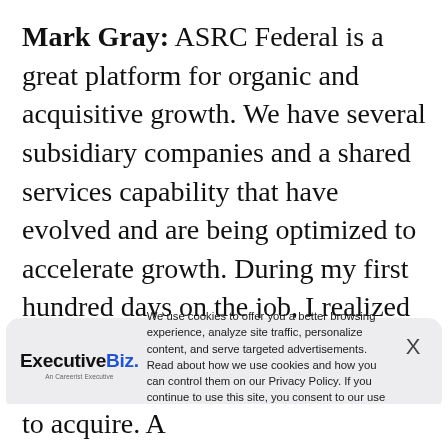Mark Gray: ASRC Federal is a great platform for organic and acquisitive growth. We have several subsidiary companies and a shared services capability that have evolved and are being optimized to accelerate growth. During my first hundred days on the job, I realized there is a very solid foundation for near-term growth in place. We've been successful in 2014 on both
[Figure (other): Cookie consent banner overlay with ExecutiveBiz logo on the left, cookie policy text in the center, and an X close button on the right. Text reads: 'We use cookies to offer you a better browsing experience, analyze site traffic, personalize content, and serve targeted advertisements. Read about how we use cookies and how you can control them on our Privacy Policy. If you continue to use this site, you consent to our use of cookies.']
financial and strategic imperatives to acquire. A